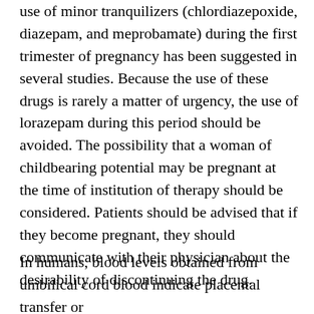use of minor tranquilizers (chlordiazepoxide, diazepam, and meprobamate) during the first trimester of pregnancy has been suggested in several studies. Because the use of these drugs is rarely a matter of urgency, the use of lorazepam during this period should be avoided. The possibility that a woman of childbearing potential may be pregnant at the time of institution of therapy should be considered. Patients should be advised that if they become pregnant, they should communicate with their physician about the desirability of discontinuing the drug.
In humans, blood levels obtained from umbilical cord blood indicate placental transfer or